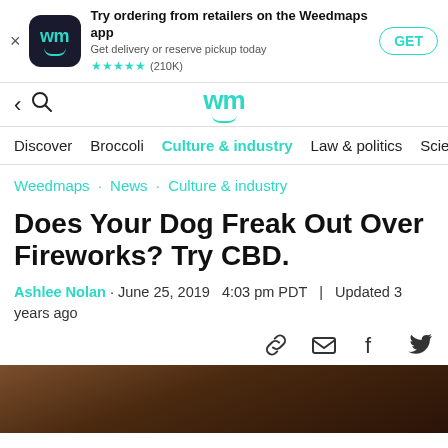[Figure (screenshot): Weedmaps app install banner with app icon, title, subtitle, star rating (210K reviews), and GET button]
wm navigation bar with back arrow, search icon, and Weedmaps logo
Category navigation: Discover · Broccoli · Culture & industry · Law & politics · Science &
Weedmaps · News · Culture & industry
Does Your Dog Freak Out Over Fireworks? Try CBD.
Ashlee Nolan · June 25, 2019  4:03 pm PDT  |  Updated 3 years ago
[Figure (photo): Partial photo of a dog, brown tones, cropped at bottom of page]